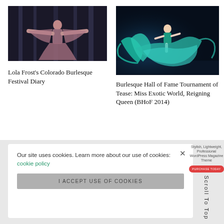[Figure (photo): Performer in purple/pink flowing costume with arms spread wide on a dark stage]
[Figure (photo): Dancer in teal/blue flowing dress performing on a dark stage with blue lighting]
Lola Frost's Colorado Burlesque Festival Diary
Burlesque Hall of Fame Tournament of Tease: Miss Exotic World, Reigning Queen (BHoF 2014)
Our site uses cookies. Learn more about our use of cookies: cookie policy
I ACCEPT USE OF COOKIES